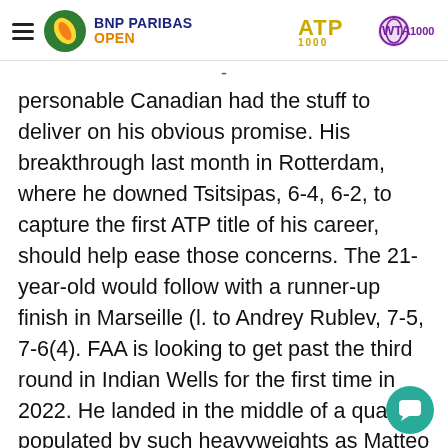BNP PARIBAS OPEN | ATP 1000 | WTA 1000
personable Canadian had the stuff to deliver on his obvious promise. His breakthrough last month in Rotterdam, where he downed Tsitsipas, 6-4, 6-2, to capture the first ATP title of his career, should help ease those concerns. The 21-year-old would follow with a runner-up finish in Marseille (l. to Andrey Rublev, 7-5, 7-6(4). FAA is looking to get past the third round in Indian Wells for the first time in 2022. He landed in the middle of a quarter populated by such heavyweights as Matteo Berrettini, Alex DeMinaur, Taylor Fritz, Pablo Carreno Busta, Marin Cilic, Lloyd Harris, Alexander Zverev, whom he upset earlier this year